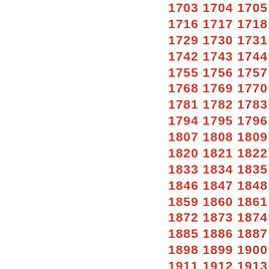1703 1704 1705 1706 1707 1708
1716 1717 1718 1719 1720 1721
1729 1730 1731 1732 1733 1734
1742 1743 1744 1745 1746 1747
1755 1756 1757 1758 1759 1760
1768 1769 1770 1771 1772 1773
1781 1782 1783 1784 1785 1786
1794 1795 1796 1797 1798 1799
1807 1808 1809 1810 1811 1812
1820 1821 1822 1823 1824 1825
1833 1834 1835 1836 1837 1838
1846 1847 1848 1849 1850 1851
1859 1860 1861 1862 1863 1864
1872 1873 1874 1875 1876 1877
1885 1886 1887 1888 1889 1890
1898 1899 1900 1901 1902 1903
1911 1912 1913 1914 1915 1916
1924 1925 1926 1927 1928 1929
1937 1938 1939 1940 1941 1942
1950 1951 1952 1953 1954 1955
1963 1964 1965 1966 1967 1968
1976 1977 1978 1979 1980 1981